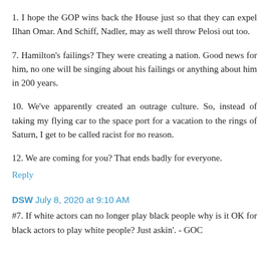1. I hope the GOP wins back the House just so that they can expel Ilhan Omar. And Schiff, Nadler, may as well throw Pelosi out too.
7. Hamilton's failings? They were creating a nation. Good news for him, no one will be singing about his failings or anything about him in 200 years.
10. We've apparently created an outrage culture. So, instead of taking my flying car to the space port for a vacation to the rings of Saturn, I get to be called racist for no reason.
12. We are coming for you? That ends badly for everyone.
Reply
DSW July 8, 2020 at 9:10 AM
#7. If white actors can no longer play black people why is it OK for black actors to play white people? Just askin'. - GOC